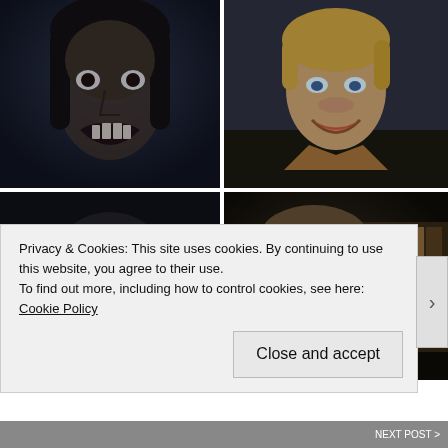[Figure (photo): Dark dramatic movie still of a man with open mouth showing teeth, long dark hair, appearing monstrous or vampire-like, dark blue toned image]
[Figure (photo): Movie still of a smiling blond man in a car, slightly upward gaze, warm toned]
[Figure (photo): Movie still of Bane character wearing black and chrome mask, dark background, dramatic low lighting]
[Figure (photo): Movie still of a middle-aged man with grey goatee/mustache looking at camera, blurred background with warm/golden tones]
Privacy & Cookies: This site uses cookies. By continuing to use this website, you agree to their use.
To find out more, including how to control cookies, see here: Cookie Policy
Close and accept